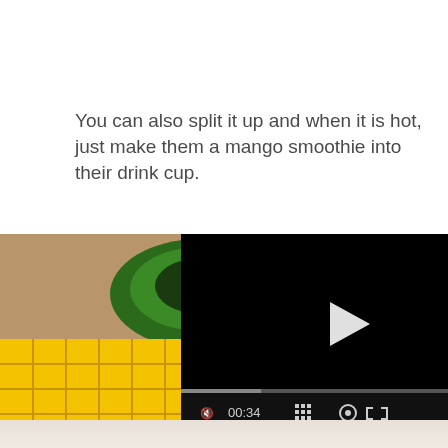You can also split it up and when it is hot, just make them a mango smoothie into their drink cup.
[Figure (photo): A photo of sliced mango cubes and a halved avocado in a bowl on a wooden surface, with a drink glass, overlaid by a black video player showing a play button, progress bar at ~30%, and controls showing mute icon, timestamp 00:34, grid, settings, and fullscreen icons.]